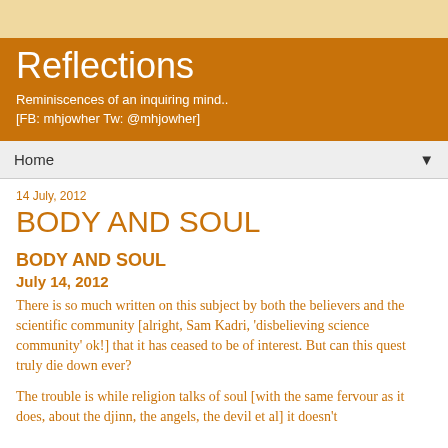Reflections
Reminiscences of an inquiring mind..
[FB: mhjowher Tw: @mhjowher]
Home
14 July, 2012
BODY AND SOUL
BODY AND SOUL
July 14, 2012
There is so much written on this subject by both the believers and the scientific community [alright, Sam Kadri, 'disbelieving science community' ok!] that it has ceased to be of interest. But can this quest truly die down ever?
The trouble is while religion talks of soul [with the same fervour as it does, about the djinn, the angels, the devil et al] it doesn't